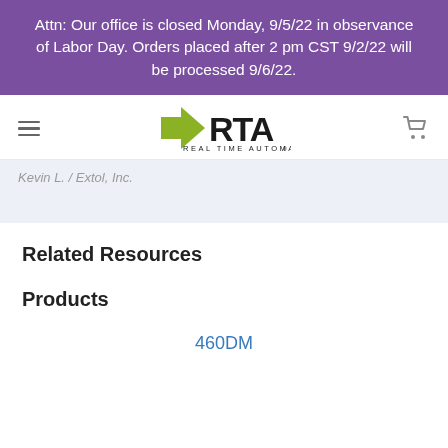Attn: Our office is closed Monday, 9/5/22 in observance of Labor Day. Orders placed after 2 pm CST 9/2/22 will be processed 9/6/22.
[Figure (logo): Real Time Automation logo with green arrow and RTA text]
Kevin L. / Extol, Inc.
Related Resources
Products
460DM